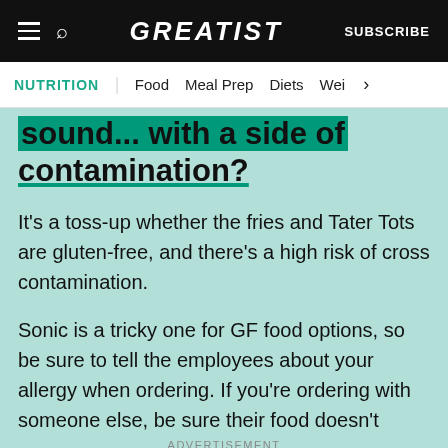GREATIST | SUBSCRIBE
NUTRITION | Food | Meal Prep | Diets | Wei >
sound... with a side of contamination?
It’s a toss-up whether the fries and Tater Tots are gluten-free, and there’s a high risk of cross contamination.
Sonic is a tricky one for GF food options, so be sure to tell the employees about your allergy when ordering. If you’re ordering with someone else, be sure their food doesn’t
ADVERTISEMENT
Let’s be friends with (health) benefits. Follow GREATIST on Instagram FOLLOW US